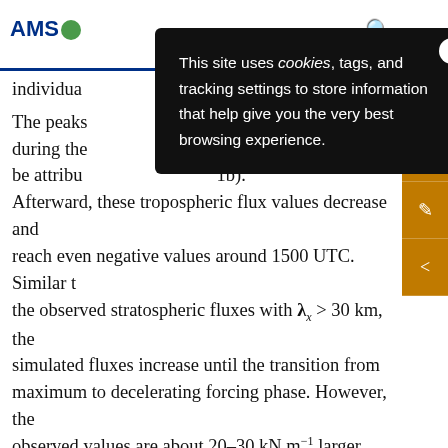AMS [logo]
individual
The peaks [obscured by cookie popup] track during the [obscured] can be attributed [obscured] 1b). Afterward, these tropospheric flux values decrease and reach even negative values around 1500 UTC. Similar to the observed stratospheric fluxes with λ_x > 30 km, the simulated fluxes increase until the transition from maximum to decelerating forcing phase. However, the observed values are about 20–30 kN m⁻¹ larger than the simulated one, except for the first RF12 leg. Observed and simulated waves with λ_x ≤ 30 km only marginally contribute to the total flux in the UTLS (Fig. 11c) during this period. In the beginning of the maximum forcing
[Figure (screenshot): Cookie consent popup overlay: 'This site uses cookies, tags, and tracking settings to store information that help give you the very best browsing experience.' with a close (X) button]